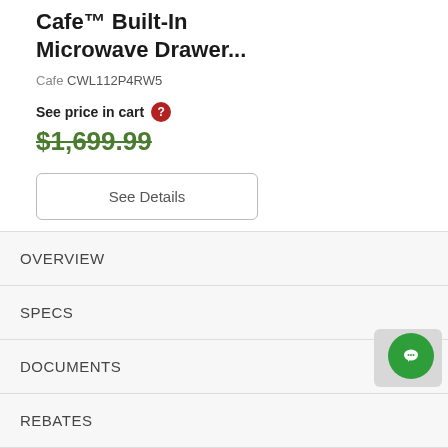Cafe™ Built-In Microwave Drawer...
Cafe CWL112P4RW5
See price in cart
$1,699.99
See Details
OVERVIEW
SPECS
DOCUMENTS
REBATES